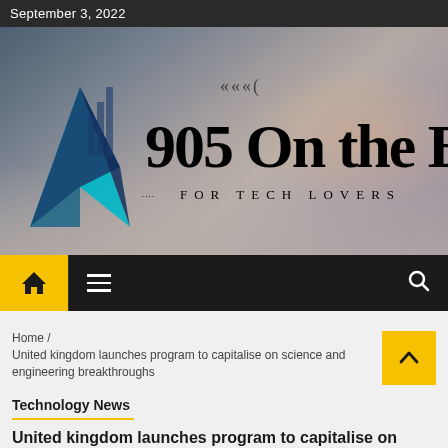September 3, 2022
[Figure (logo): 905 On the Bay - For Tech Lovers logo/banner with keyboard background photo and teal arrow logo graphic]
Home /
United kingdom launches program to capitalise on science and engineering breakthroughs
Technology News